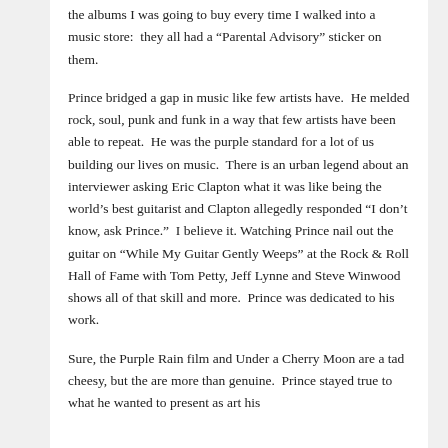the albums I was going to buy every time I walked into a music store:  they all had a “Parental Advisory” sticker on them.
Prince bridged a gap in music like few artists have.  He melded rock, soul, punk and funk in a way that few artists have been able to repeat.  He was the purple standard for a lot of us building our lives on music.  There is an urban legend about an interviewer asking Eric Clapton what it was like being the world’s best guitarist and Clapton allegedly responded “I don’t know, ask Prince.”  I believe it. Watching Prince nail out the guitar on “While My Guitar Gently Weeps” at the Rock & Roll Hall of Fame with Tom Petty, Jeff Lynne and Steve Winwood shows all of that skill and more.  Prince was dedicated to his work.
Sure, the Purple Rain film and Under a Cherry Moon are a tad cheesy, but the are more than genuine.  Prince stayed true to what he wanted to present as art his